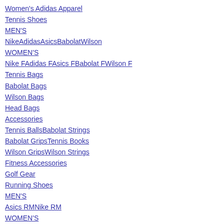Women's Adidas Apparel
Tennis Shoes
MEN'S
NikeAdidasAsicsBabolatWilson
WOMEN'S
Nike FAdidas FAsics FBabolat FWilson F
Tennis Bags
Babolat Bags
Wilson Bags
Head Bags
Accessories
Tennis BallsBabolat Strings
Babolat GripsTennis Books
Wilson GripsWilson Strings
Fitness Accessories
Golf Gear
Running Shoes
MEN'S
Asics RMNike RM
WOMEN'S
Asics RFNike RF
Tennis News
Home /
Tennis Shoes /